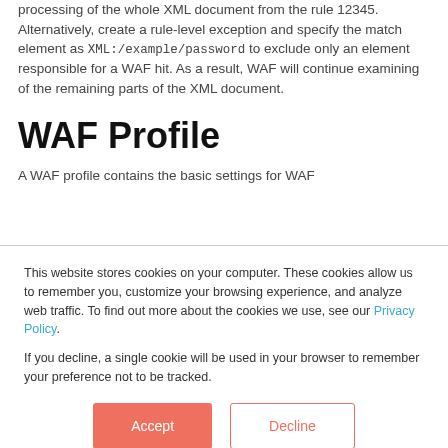processing of the whole XML document from the rule 12345. Alternatively, create a rule-level exception and specify the match element as XML:/example/password to exclude only an element responsible for a WAF hit. As a result, WAF will continue examining of the remaining parts of the XML document.
WAF Profile
A WAF profile contains the basic settings for WAF
This website stores cookies on your computer. These cookies allow us to remember you, customize your browsing experience, and analyze web traffic. To find out more about the cookies we use, see our Privacy Policy.

If you decline, a single cookie will be used in your browser to remember your preference not to be tracked.